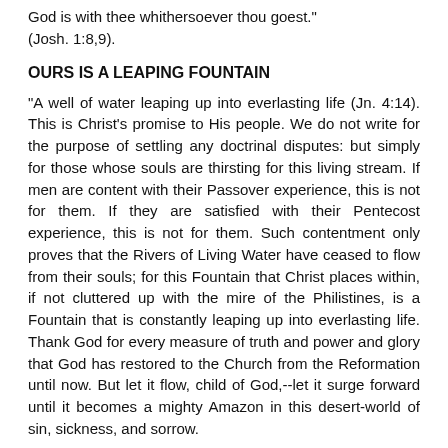God is with thee whithersoever thou goest." (Josh. 1:8,9).
OURS IS A LEAPING FOUNTAIN
"A well of water leaping up into everlasting life (Jn. 4:14). This is Christ's promise to His people. We do not write for the purpose of settling any doctrinal disputes: but simply for those whose souls are thirsting for this living stream. If men are content with their Passover experience, this is not for them. If they are satisfied with their Pentecost experience, this is not for them. Such contentment only proves that the Rivers of Living Water have ceased to flow from their souls; for this Fountain that Christ places within, if not cluttered up with the mire of the Philistines, is a Fountain that is constantly leaping up into everlasting life. Thank God for every measure of truth and power and glory that God has restored to the Church from the Reformation until now. But let it flow, child of God,--let it surge forward until it becomes a mighty Amazon in this desert-world of sin, sickness, and sorrow.
Said Jesus, "Out of his innermost being shall flow